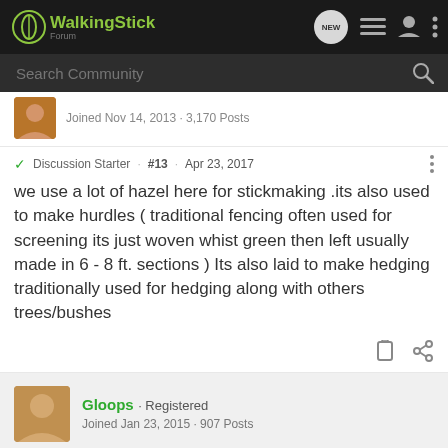WalkingStick Forum
Joined Nov 14, 2013 · 3,170 Posts
Discussion Starter · #13 · Apr 23, 2017
we use a lot of hazel here for stickmaking .its also used to make hurdles ( traditional fencing often used for screening its just woven whist green then left usually made in 6 - 8 ft. sections ) Its also laid to make hedging traditionally used for hedging along with others trees/bushes
Gloops · Registered
Joined Jan 23, 2015 · 907 Posts